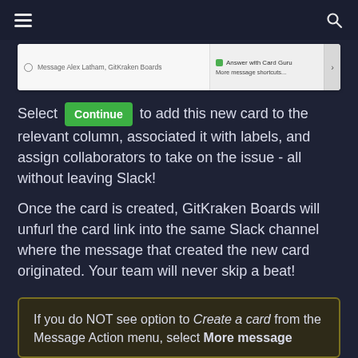[Figure (screenshot): A Slack message input UI showing 'Message Alex Latham, GitKraken Boards' field on the left, and 'Answer with Card Guru / More message shortcuts...' options on the right with an arrow button.]
Select Continue to add this new card to the relevant column, associated it with labels, and assign collaborators to take on the issue - all without leaving Slack!
Once the card is created, GitKraken Boards will unfurl the card link into the same Slack channel where the message that created the new card originated. Your team will never skip a beat!
If you do NOT see option to Create a card from the Message Action menu, select More message